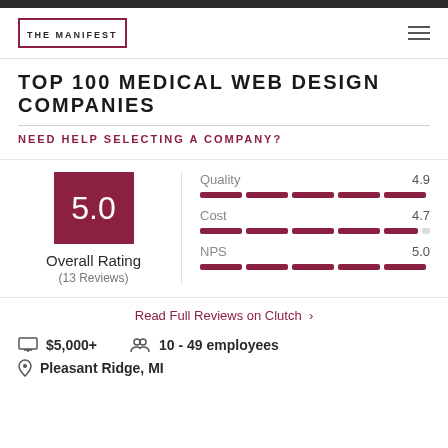THE MANIFEST
TOP 100 MEDICAL WEB DESIGN COMPANIES
NEED HELP SELECTING A COMPANY?
| Metric | Score |
| --- | --- |
| Overall Rating | 5.0 |
| (13 Reviews) |  |
| Quality | 4.9 |
| Cost | 4.7 |
| NPS | 5.0 |
Read Full Reviews on Clutch >
$5,000+
10 - 49 employees
Pleasant Ridge, MI